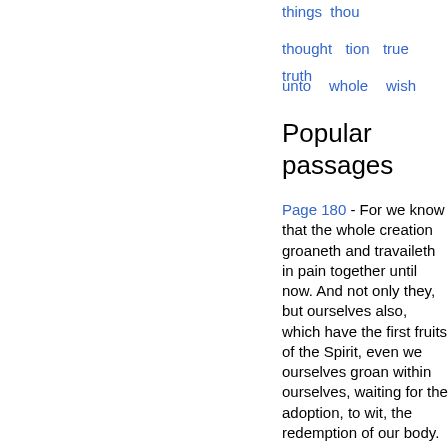things  thou thought  tion  true  truth unto  whole  wish
Popular passages
Page 180 - For we know that the whole creation groaneth and travaileth in pain together until now. And not only they, but ourselves also, which have the first fruits of the Spirit, even we ourselves groan within ourselves, waiting for the adoption, to wit, the redemption of our body.
Appears in 834 books from 1181-2008